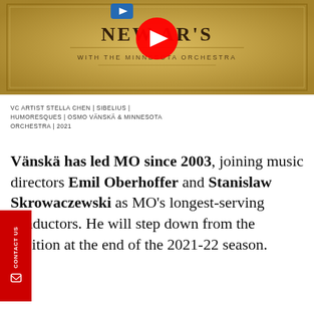[Figure (screenshot): YouTube video thumbnail showing 'New Year's with the Minnesota Orchestra' on a gold/ornate background with YouTube play button overlay]
VC ARTIST STELLA CHEN | SIBELIUS | HUMORESQUES | OSMO VÄNSKÄ & MINNESOTA ORCHESTRA | 2021
Vänskä has led MO since 2003, joining music directors Emil Oberhoffer and Stanislaw Skrowaczewski as MO's longest-serving conductors. He will step down from the position at the end of the 2021-22 season.